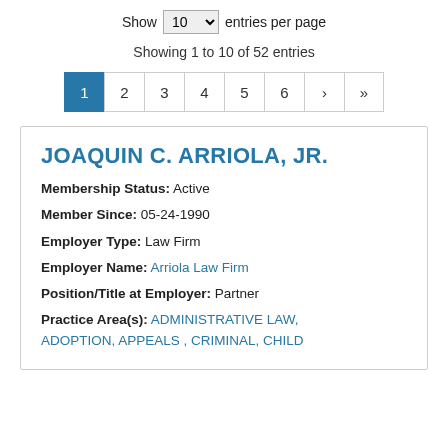Show 10 entries per page
Showing 1 to 10 of 52 entries
Pagination: 1 2 3 4 5 6 > >>
JOAQUIN C. ARRIOLA, JR.
Membership Status: Active
Member Since: 05-24-1990
Employer Type: Law Firm
Employer Name: Arriola Law Firm
Position/Title at Employer: Partner
Practice Area(s): ADMINISTRATIVE LAW, ADOPTION, APPEALS, CRIMINAL, CHILD...